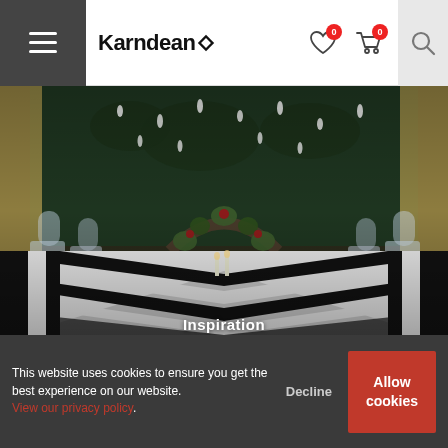Karndean — website navigation bar with hamburger menu, logo, wishlist (0), cart (0), and search icons
[Figure (photo): Interior photo of a decorated event venue with a bold black-and-white geometric Karndean floor, clear acrylic ghost chairs arranged in rows, a green wall backdrop with hanging white ornaments, and a floral arch altar at the far end.]
Inspiration
This website uses cookies to ensure you get the best experience on our website. View our privacy policy.